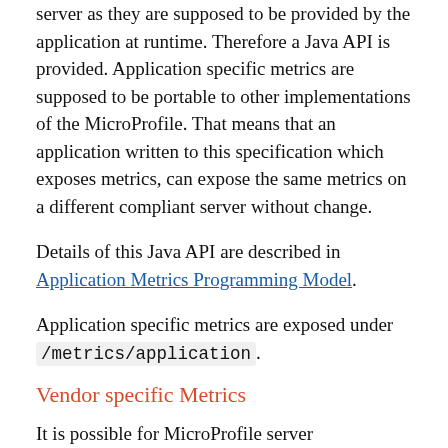server as they are supposed to be provided by the application at runtime. Therefore a Java API is provided. Application specific metrics are supposed to be portable to other implementations of the MicroProfile. That means that an application written to this specification which exposes metrics, can expose the same metrics on a different compliant server without change.
Details of this Java API are described in Application Metrics Programming Model.
Application specific metrics are exposed under /metrics/application.
Vendor specific Metrics
It is possible for MicroProfile server implementors to